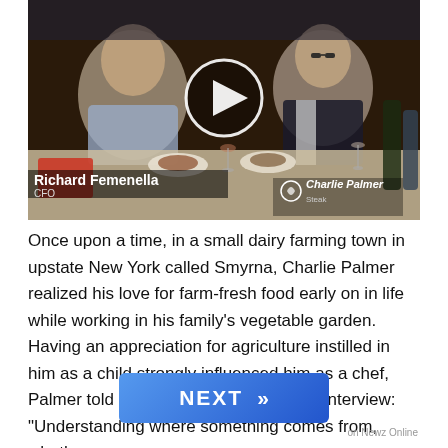[Figure (screenshot): Video thumbnail showing two men seated at a dining table with food and wine. Lower-third graphics show 'Richard Femenella CFO' on the left and 'Charlie Palmer' logo on the right. A circular play button overlay is centered on the video.]
Once upon a time, in a small dairy farming town in upstate New York called Smyrna, Charlie Palmer realized his love for farm-fresh food early on in life while working in his family's vegetable garden. Having an appreciation for agriculture instilled in him as a child strongly influenced him as a chef, Palmer told Grape Collective in a 2019 interview: "Understanding where something comes from, whether
[Figure (other): Blue NEXT button with double chevron arrow >>]
on Newz Online